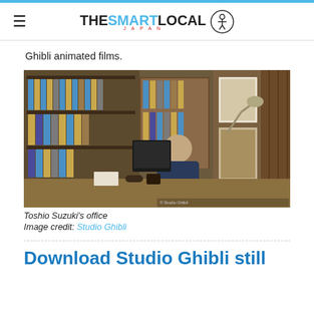THE SMART LOCAL JAPAN
Ghibli animated films.
[Figure (photo): Interior photo of Toshio Suzuki's office at Studio Ghibli, showing a man seated at a large desk covered with papers and items, surrounded by bookshelves filled with binders and books, with a desk lamp illuminating the scene.]
Toshio Suzuki's office
Image credit: Studio Ghibli
Download Studio Ghibli still images for free